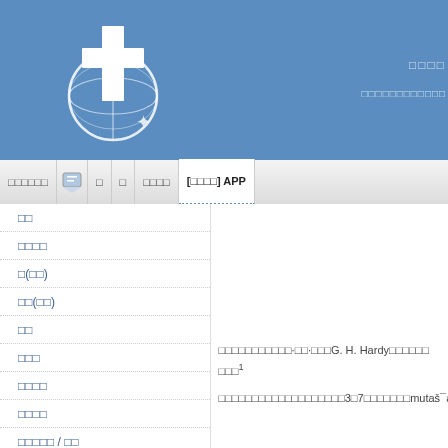[Figure (logo): Cross and globe logo with star on blue header background]
□□□□ □□□□□□□□□□□
□□□□□□ □ □ □□□□ [□□□□] APP
□□
□□□□
□(□□)
□□(□□)
□□
□□□
□□□□
□□□□
□□□□□ / □□
□□(□)□□(□)□□(□)
□□□□□□□□□□□·□□·□□□G. H. Hardy□□□□□□ □□□1
□□□□□□□□□□□□□□□□□□□3□7□□□□□□□mutaš¯abih